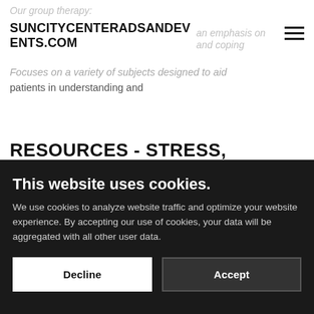SUNCITYCENTERADSANDEVENTS.COM
Our group therapy:
an emphasis on and coping
Focuses on a variety of subjects designed to aid patients in understanding and
RESOURCES - STRESS, ANXIETY AND HEALTH NEEDS CONTINUED
This website uses cookies.
We use cookies to analyze website traffic and optimize your website experience. By accepting our use of cookies, your data will be aggregated with all other user data.
Decline
Accept